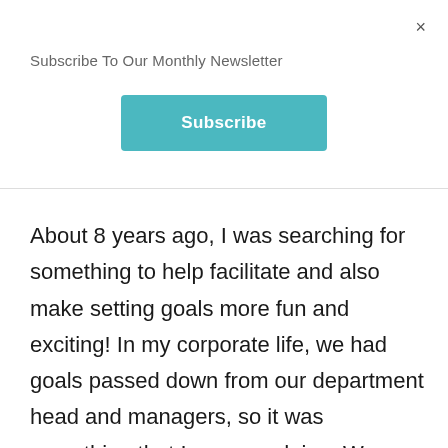×
Subscribe To Our Monthly Newsletter
[Figure (other): Teal Subscribe button]
About 8 years ago, I was searching for something to help facilitate and also make setting goals more fun and exciting! In my corporate life, we had goals passed down from our department head and managers, so it was something that I grew up doing. We would go over the company's goals and objectives each